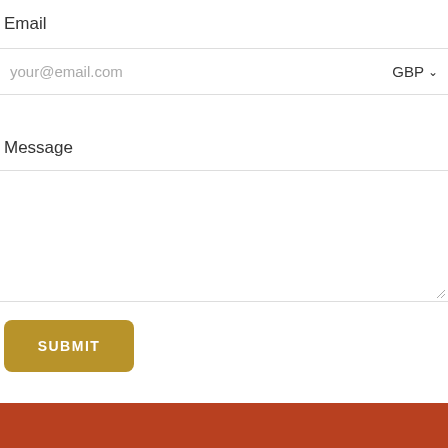Email
your@email.com
GBP
Message
SUBMIT